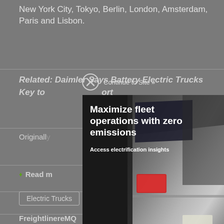New York City, Tokyo, Berlin, London, Amsterdam, Paris and Lisbon.
Related: Daimler Says Battery Electric Trucks Key to [partially obscured] Report
Originally [partially obscured]
Read m[ore]
Electric Trucks | Truck Batteries
FreightlinereMQ | Freightliner Cascadia
[Figure (screenshot): Advertisement popup overlay from GEOTAB showing a photo of electric vehicles/trucks from behind with text 'Maximize fleet operations with zero emissions' and 'Access electrification insights'. Has a close button (X circle) and 'Continue to Site »' text at top.]